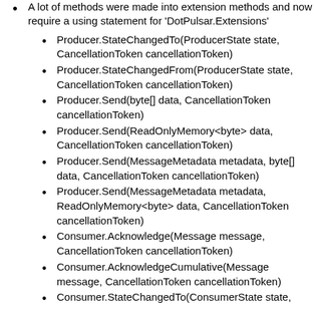A lot of methods were made into extension methods and now require a using statement for 'DotPulsar.Extensions'
Producer.StateChangedTo(ProducerState state, CancellationToken cancellationToken)
Producer.StateChangedFrom(ProducerState state, CancellationToken cancellationToken)
Producer.Send(byte[] data, CancellationToken cancellationToken)
Producer.Send(ReadOnlyMemory<byte> data, CancellationToken cancellationToken)
Producer.Send(MessageMetadata metadata, byte[] data, CancellationToken cancellationToken)
Producer.Send(MessageMetadata metadata, ReadOnlyMemory<byte> data, CancellationToken cancellationToken)
Consumer.Acknowledge(Message message, CancellationToken cancellationToken)
Consumer.AcknowledgeCumulative(Message message, CancellationToken cancellationToken)
Consumer.StateChangedTo(ConsumerState state,